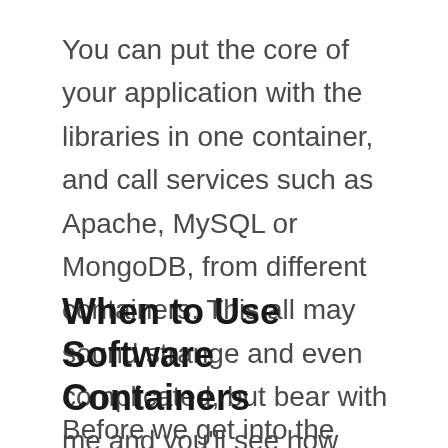You can put the core of your application with the libraries in one container, and call services such as Apache, MySQL or MongoDB, from different containers. This all may sound strange and even complicated, but bear with me and you'll see how doing so not only makes a lot of sense, but it's way easier that it sounds.
When to Use Software Containers
Before we get into the mechanics and some